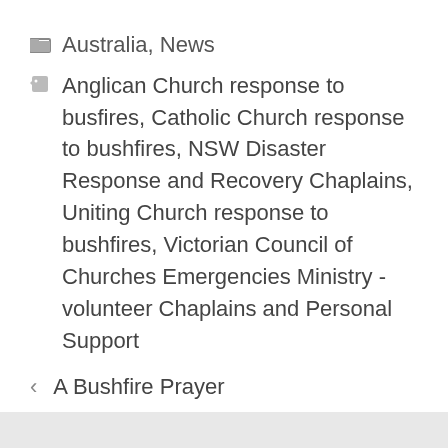Australia, News
Anglican Church response to busfires, Catholic Church response to bushfires, NSW Disaster Response and Recovery Chaplains, Uniting Church response to bushfires, Victorian Council of Churches Emergencies Ministry - volunteer Chaplains and Personal Support
A Bushfire Prayer
South Australia: Bushfires Prayer Gathering